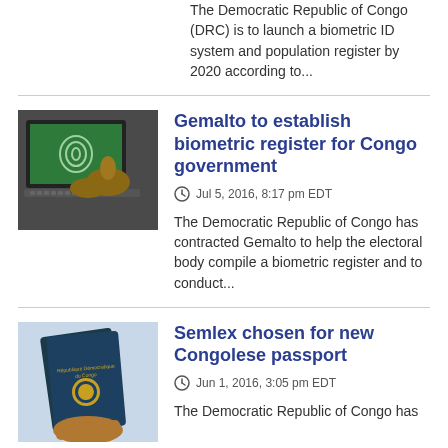The Democratic Republic of Congo (DRC) is to launch a biometric ID system and population register by 2020 according to...
[Figure (photo): Person using a laptop with fingerprint scanner for biometric registration]
Gemalto to establish biometric register for Congo government
Jul 5, 2016, 8:17 pm EDT
The Democratic Republic of Congo has contracted Gemalto to help the electoral body compile a biometric register and to conduct...
[Figure (photo): Hand holding a Democratic Republic of Congo passport]
Semlex chosen for new Congolese passport
Jun 1, 2016, 3:05 pm EDT
The Democratic Republic of Congo has